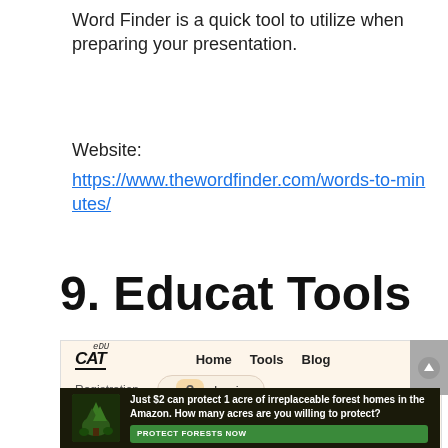Word Finder is a quick tool to utilize when preparing your presentation.
Website:
https://www.thewordfinder.com/words-to-minutes/
9. Educat Tools
[Figure (screenshot): Screenshot of the Educat Tools website showing the EduCat logo, navigation links (Home, Tools, Blog), Registration and Login options with a question mark button, and the beginning of a 'Words to Minutes - Speech and...' heading. Below is an advertisement banner: 'Just $2 can protect 1 acre of irreplaceable forest homes in the Amazon. How many acres are you willing to protect?' with a PROTECT FORESTS NOW button.]